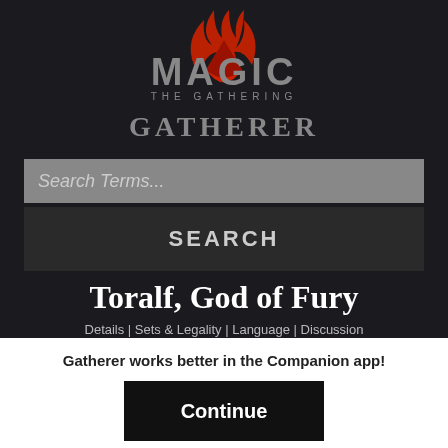[Figure (logo): Magic: The Gathering Gatherer logo with flame icon above the word MAGIC and THE GATHERING subtitle, followed by GATHERER text below]
Search Terms...
SEARCH
Toralf, God of Fury
Details | Sets & Legality | Language | Discussion
Gatherer works better in the Companion app!
Continue